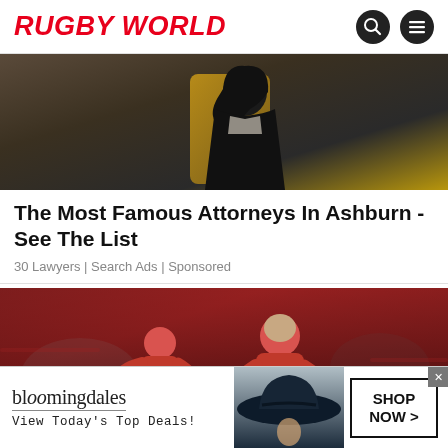RUGBY WORLD
[Figure (photo): Photo of a woman in black outfit seated in a gold chair, used as advertisement image for attorneys]
The Most Famous Attorneys In Ashburn - See The List
30 Lawyers | Search Ads | Sponsored
[Figure (photo): Action photo of rugby players in red jerseys running with the ball]
[Figure (infographic): Bloomingdales advertisement banner: bloomingdales logo, View Today's Top Deals!, woman in wide-brim hat, SHOP NOW > button]